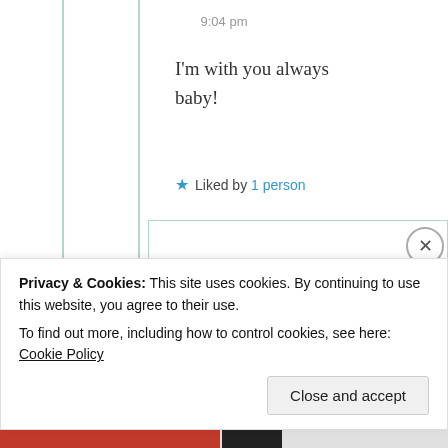9:04 pm
I'm with you always baby!
★ Liked by 1 person
[Figure (photo): Round avatar photo of Suma Reddy, a woman with dark hair]
Suma Reddy
15th May 2021 at
1:10 am
Privacy & Cookies: This site uses cookies. By continuing to use this website, you agree to their use.
To find out more, including how to control cookies, see here: Cookie Policy
Close and accept